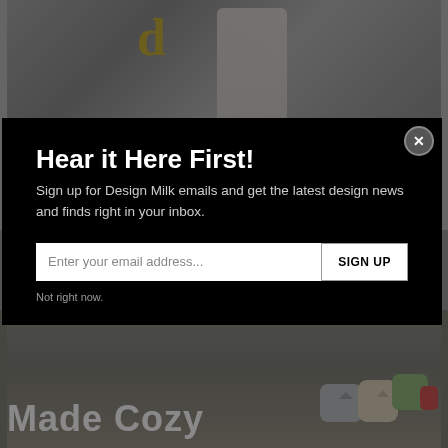[Figure (photo): Background photo showing a man in a white suit in a modern design showroom, with a golden stylized letter visible, partially obscured by modal overlay]
Hear it Here First!
Sign up for Design Milk emails and get the latest design news and finds right in your inbox.
Enter your email address...
SIGN UP
Not right now.
[Figure (photo): Bottom portion of page showing decorative pillows and 'Made Cozy' text overlay in white bold font]